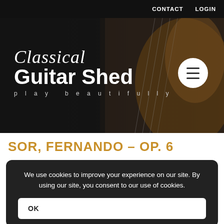CONTACT   LOGIN
[Figure (photo): Classical Guitar Shed website hero banner showing a close-up of a classical guitar with the site logo and tagline 'play beautifully' overlaid on a dark background]
SOR, FERNANDO – OP. 6
We use cookies to improve your experience on our site. By using our site, you consent to our use of cookies.
OK